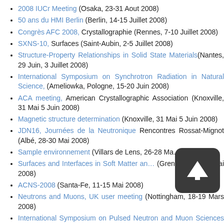2008 IUCr Meeting (Osaka, 23-31 Aout 2008)
50 ans du HMI Berlin (Berlin, 14-15 Juillet 2008)
Congrès AFC 2008, Crystallographie (Rennes, 7-10 Juillet 2008)
SXNS-10, Surfaces (Saint-Aubin, 2-5 Juillet 2008)
Structure-Property Relationships in Solid State Materials(Nantes, 29 Juin, 3 Juillet 2008)
International Symposium on Synchrotron Radiation in Natural Science, (Ameliowka, Pologne, 15-20 Juin 2008)
ACA meeting, American Crystallographic Association (Knoxville, 31 Mai 5 Juin 2008)
Magnetic structure determination (Knoxville, 31 Mai 5 Juin 2008)
JDN16, Journées de la Neutronique Rencontres Rossat-Mignot (Albé, 28-30 Mai 2008)
Sample environnement (Villars de Lens, 26-28 Mai ...)
Surfaces and Interfaces in Soft Matter and ... (Grenoble, 21-23 Mai 2008)
ACNS-2008 (Santa-Fe, 11-15 Mai 2008)
Neutrons and Muons, UK user meeting (Nottingham, 18-19 Mars 2008)
International Symposium on Pulsed Neutron and Muon Sciences (Ibarakiken Shichouson Kaikan Mito, 5-8 Mars ...)